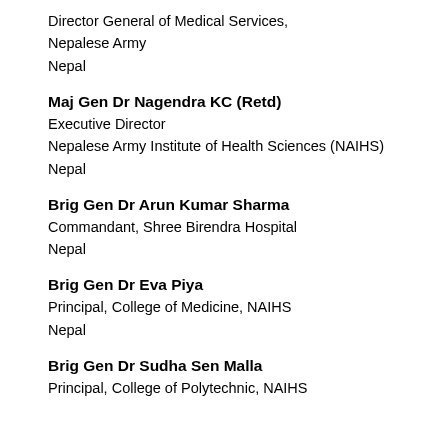Director General of Medical Services,
Nepalese Army
Nepal
Maj Gen Dr Nagendra KC (Retd)
Executive Director
Nepalese Army Institute of Health Sciences (NAIHS)
Nepal
Brig Gen Dr Arun Kumar Sharma
Commandant, Shree Birendra Hospital
Nepal
Brig Gen Dr Eva Piya
Principal, College of Medicine, NAIHS
Nepal
Brig Gen Dr Sudha Sen Malla
Principal, College of Polytechnic, NAIHS